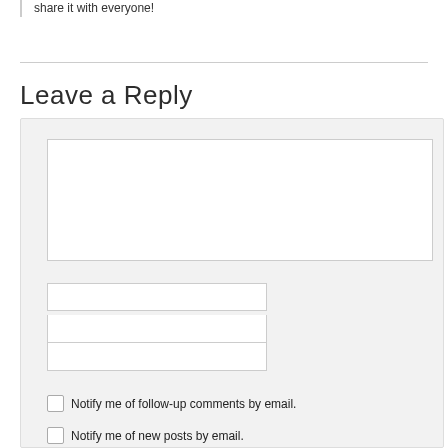share it with everyone!
Leave a Reply
[Figure (other): Comment form with textarea, three input fields, and two checkboxes for email notification]
Notify me of follow-up comments by email.
Notify me of new posts by email.